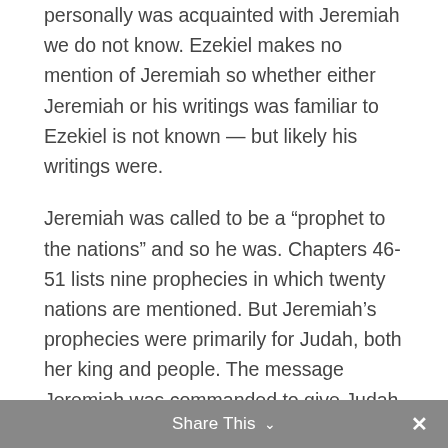personally was acquainted with Jeremiah we do not know. Ezekiel makes no mention of Jeremiah so whether either Jeremiah or his writings was familiar to Ezekiel is not known — but likely his writings were.
Jeremiah was called to be a “prophet to the nations” and so he was. Chapters 46-51 lists nine prophecies in which twenty nations are mentioned. But Jeremiah’s prophecies were primarily for Judah, both her king and people. The message Jeremiah was commanded to give Judah was that defeat, destruction, and exile were inevitable. Judah should submit to
Share This ∨ ×